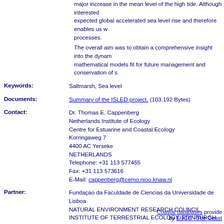major increase in the mean level of the high tide. Although interested expected global accelerated sea level rise and therefore enables us w processes.
The overall aim was to obtain a comprehensive insight into the dynam mathematical models fit for future management and conservation of s
Keywords: Saltmarsh, Sea level
Documents: Summary of the ISLED project. (103.192 Bytes)
Contact: Dr. Thomas E. Cappenberg
Netherlands Institute of Ecology
Centre for Estuarine and Coastal Ecology
Korringaweg 7
4400 AC Yerseke
NETHERLANDS
Telephone: +31 113 577455
Fax: +31 113 573616
E-Mail: cappenberg@cemo.nioo.knaw.nl
Partner: Fundaçao da Faculdade de Ciencias da Universidade de Lisboa
NATURAL ENVIRONMENT RESEARCH COUNCIL
INSTITUTE OF TERRESTRIAL ECOLOGY, EDINBURGH RESEARC
THE SOUTHAMPTON OCEANOGRAPHY CENTRE
UNIVERSITE DE RENNES
UNIVERSITY OF SOUTHERN DENMARK - UNIVERSITY OF ODEN
Universiteit Gent
Financed by: European Commission
Coastal databases provide by EUCC - The Coast